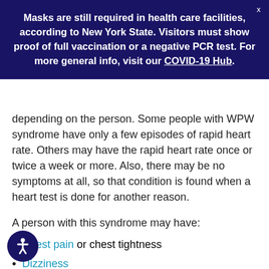Masks are still required in health care facilities, according to New York State. Visitors must show proof of full vaccination or a negative PCR test. For more general info, visit our COVID-19 Hub.
depending on the person. Some people with WPW syndrome have only a few episodes of rapid heart rate. Others may have the rapid heart rate once or twice a week or more. Also, there may be no symptoms at all, so that condition is found when a heart test is done for another reason.
A person with this syndrome may have:
Chest pain or chest tightness
Dizziness
Lightheadedness
Fainting